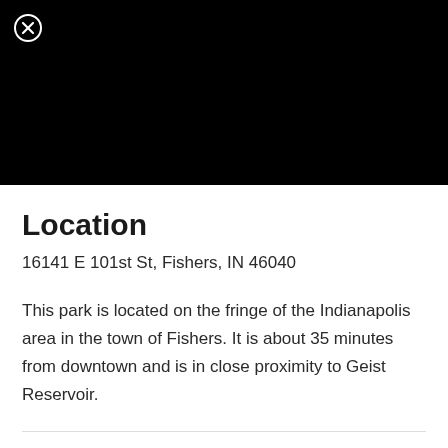[Figure (photo): Black panel / image area at top with a close (X) button in the upper left corner]
Location
16141 E 101st St, Fishers, IN 46040
This park is located on the fringe of the Indianapolis area in the town of Fishers. It is about 35 minutes from downtown and is in close proximity to Geist Reservoir.